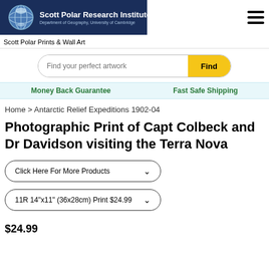[Figure (logo): Scott Polar Research Institute logo with globe icon, white text on dark navy background, subtitle: Department of Geography, University of Cambridge]
Scott Polar Prints & Wall Art
Find your perfect artwork
Money Back Guarantee    Fast Safe Shipping
Home > Antarctic Relief Expeditions 1902-04
Photographic Print of Capt Colbeck and Dr Davidson visiting the Terra Nova
Click Here For More Products
11R 14"x11" (36x28cm) Print $24.99
$24.99